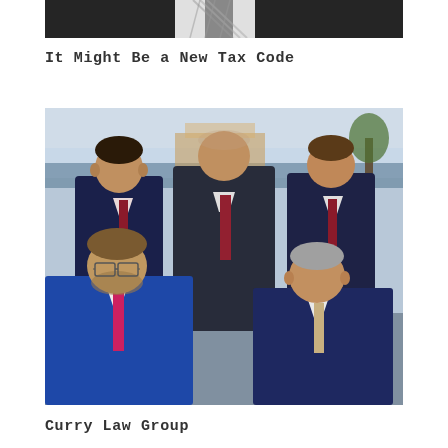[Figure (photo): Partial photo of a man in a dark suit with a patterned tie, cropped at the neck/torso area]
It Might Be a New Tax Code
[Figure (photo): Group photo of five men in suits, three standing in back row and two seated in front row, outdoors on a rooftop or balcony with water and buildings in the background. This is the Curry Law Group team photo.]
Curry Law Group